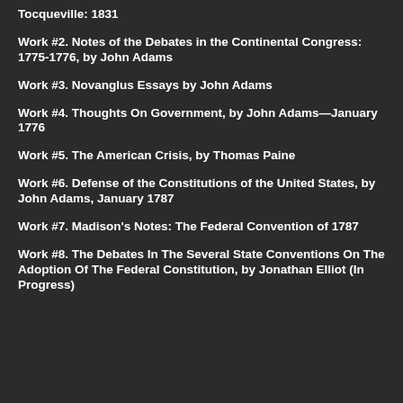Tocqueville: 1831
Work #2. Notes of the Debates in the Continental Congress: 1775-1776, by John Adams
Work #3. Novanglus Essays by John Adams
Work #4. Thoughts On Government, by John Adams—January 1776
Work #5. The American Crisis, by Thomas Paine
Work #6. Defense of the Constitutions of the United States, by John Adams, January 1787
Work #7. Madison's Notes: The Federal Convention of 1787
Work #8. The Debates In The Several State Conventions On The Adoption Of The Federal Constitution, by Jonathan Elliot (In Progress)